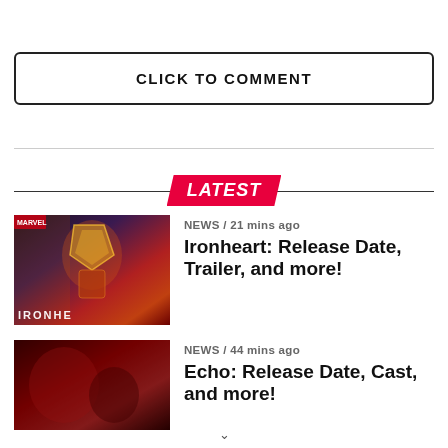CLICK TO COMMENT
LATEST
NEWS / 21 mins ago
Ironheart: Release Date, Trailer, and more!
[Figure (photo): Ironheart Marvel thumbnail showing armored figure with gold and red suit, text IRONHE visible]
NEWS / 44 mins ago
Echo: Release Date, Cast, and more!
[Figure (photo): Echo show thumbnail with dark red background]